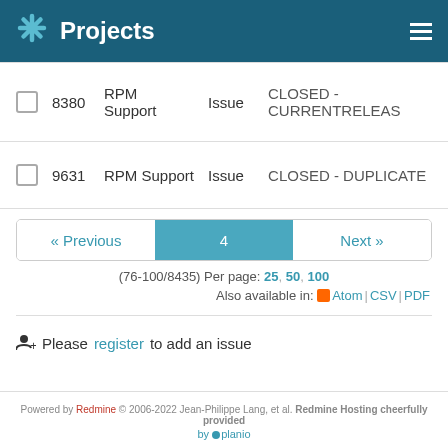Projects
8380  RPM Support  Issue  CLOSED - CURRENTRELEAS
9631  RPM Support  Issue  CLOSED - DUPLICATE
« Previous  4  Next »
(76-100/8435) Per page: 25, 50, 100
Also available in: Atom | CSV | PDF
Please register to add an issue
Powered by Redmine © 2006-2022 Jean-Philippe Lang, et al. Redmine Hosting cheerfully provided by planio